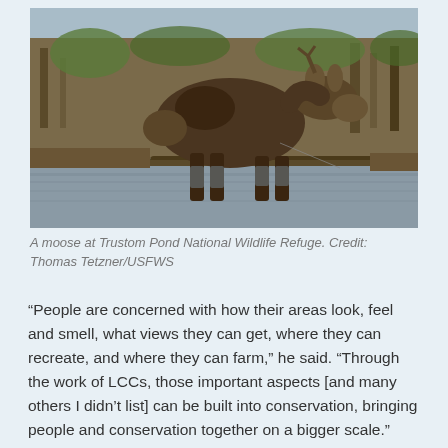[Figure (photo): A moose standing in shallow water at Trustom Pond National Wildlife Refuge, with logs and forest vegetation in the background.]
A moose at Trustom Pond National Wildlife Refuge. Credit: Thomas Tetzner/USFWS
“People are concerned with how their areas look, feel and smell, what views they can get, where they can recreate, and where they can farm,” he said. “Through the work of LCCs, those important aspects [and many others I didn’t list] can be built into conservation, bringing people and conservation together on a bigger scale.”